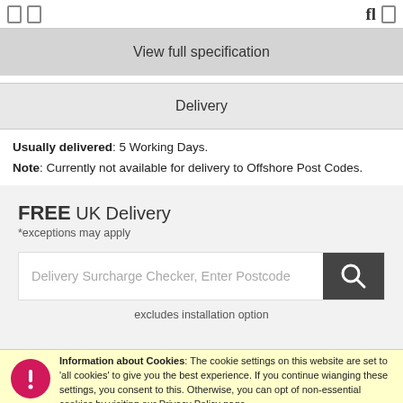View full specification
Delivery
Usually delivered: 5 Working Days.
Note: Currently not available for delivery to Offshore Post Codes.
FREE UK Delivery
*exceptions may apply
Delivery Surcharge Checker, Enter Postcode
excludes installation option
1   CHOOSE PRODUCT OPTIONS
Information about Cookies: The cookie settings on this website are set to 'allow all cookies' to give you the best experience. If you continue without changing these settings, you consent to this. Otherwise, you can opt out of non-essential cookies by visiting our Privacy Policy page.